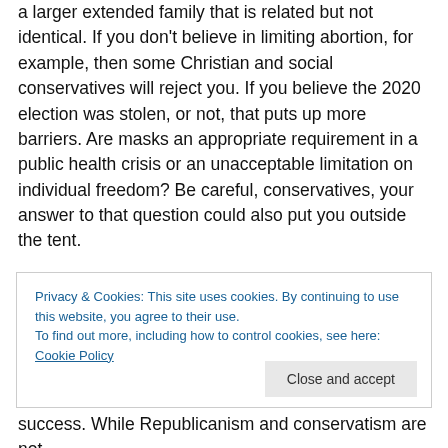a larger extended family that is related but not identical. If you don't believe in limiting abortion, for example, then some Christian and social conservatives will reject you. If you believe the 2020 election was stolen, or not, that puts up more barriers. Are masks an appropriate requirement in a public health crisis or an unacceptable limitation on individual freedom? Be careful, conservatives, your answer to that question could also put you outside the tent.
Privacy & Cookies: This site uses cookies. By continuing to use this website, you agree to their use. To find out more, including how to control cookies, see here: Cookie Policy
success. While Republicanism and conservatism are not